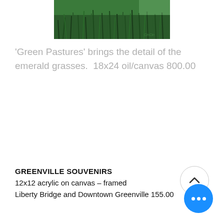[Figure (photo): Painting of green emerald grasses, close-up detail, with artist signature in lower right corner]
'Green Pastures' brings the detail of the emerald grasses.  18x24 oil/canvas 800.00
GREENVILLE SOUVENIRS
12x12 acrylic on canvas - framed
Liberty Bridge and Downtown Greenville 155.00